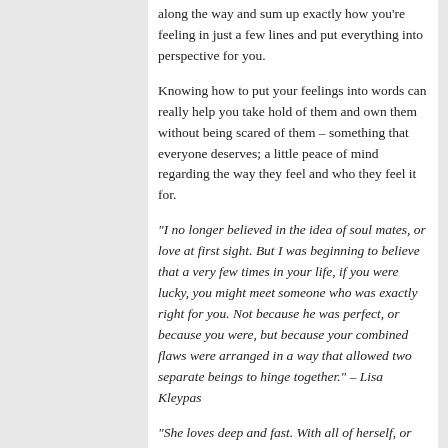along the way and sum up exactly how you're feeling in just a few lines and put everything into perspective for you.
Knowing how to put your feelings into words can really help you take hold of them and own them without being scared of them – something that everyone deserves; a little peace of mind regarding the way they feel and who they feel it for.
“I no longer believed in the idea of soul mates, or love at first sight. But I was beginning to believe that a very few times in your life, if you were lucky, you might meet someone who was exactly right for you. Not because he was perfect, or because you were, but because your combined flaws were arranged in a way that allowed two separate beings to hinge together.” – Lisa Kleypas
“She loves deep and fast. With all of herself, or not one bit. She’ll give people all of her light, in turn struggle to understand when they don’t pay that back. She wants you to think she can’t be hurt, and to be honest, she can’t be